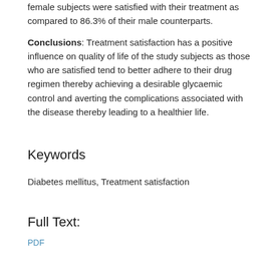female subjects were satisfied with their treatment as compared to 86.3% of their male counterparts.
Conclusions: Treatment satisfaction has a positive influence on quality of life of the study subjects as those who are satisfied tend to better adhere to their drug regimen thereby achieving a desirable glycaemic control and averting the complications associated with the disease thereby leading to a healthier life.
Keywords
Diabetes mellitus, Treatment satisfaction
Full Text:
PDF
References